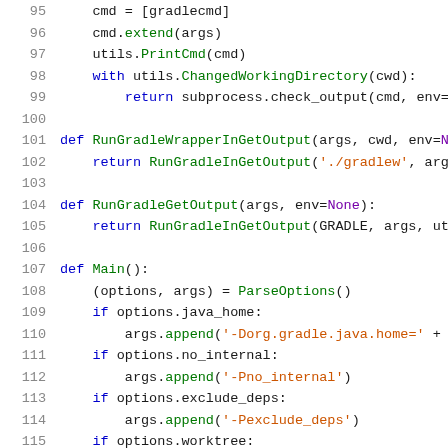[Figure (screenshot): Python source code snippet, lines 95-116, showing functions RunGradleWrapperInGetOutput, RunGradleGetOutput, and Main with syntax highlighting]